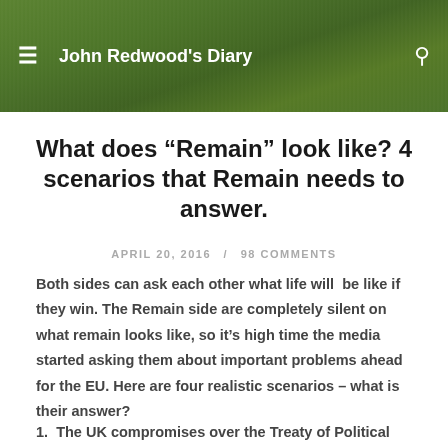John Redwood's Diary
What does “Remain” look like? 4 scenarios that Remain needs to answer.
APRIL 20, 2016  /  98 COMMENTS
Both sides can ask each other what life will  be like if they win. The Remain side are completely silent on what remain looks like, so it’s high time the media started asking them about important problems ahead for the EU. Here are four realistic scenarios – what is their answer?
1.  The UK compromises over the Treaty of Political